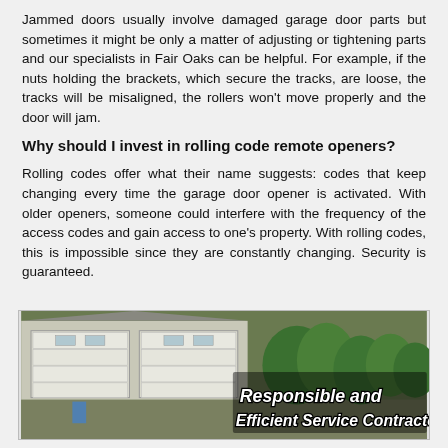Jammed doors usually involve damaged garage door parts but sometimes it might be only a matter of adjusting or tightening parts and our specialists in Fair Oaks can be helpful. For example, if the nuts holding the brackets, which secure the tracks, are loose, the tracks will be misaligned, the rollers won't move properly and the door will jam.
Why should I invest in rolling code remote openers?
Rolling codes offer what their name suggests: codes that keep changing every time the garage door opener is activated. With older openers, someone could interfere with the frequency of the access codes and gain access to one's property. With rolling codes, this is impossible since they are constantly changing. Security is guaranteed.
[Figure (photo): Photo of a residential garage with white garage doors and green trees, with overlay text reading 'Responsible and Efficient Service Contractor' in bold italic white font with black outline.]